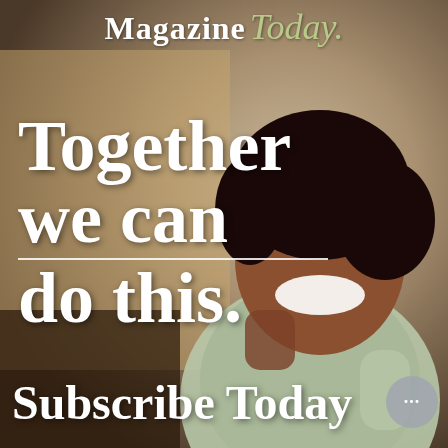[Figure (photo): Magazine advertisement showing a smiling young Black woman with natural hair, wearing a light green striped top, looking down and laughing, with a blurred indoor background]
Magazine Today.
Together we can do this.
Subscribe Today